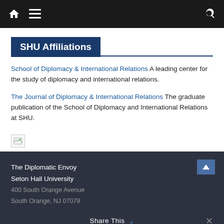Navigation bar with home, menu, and search icons
SHU Affiliations
School of Diplomacy & International Relations A leading center for the study of diplomacy and international relations.
The Journal of Diplomacy & International Relations The graduate publication of the School of Diplomacy and International Relations at SHU.
[Figure (other): Broken image placeholder icon]
The Diplomatic Envoy
Seton Hall University
400 South Orange Avenue
South Orange, NJ 07079